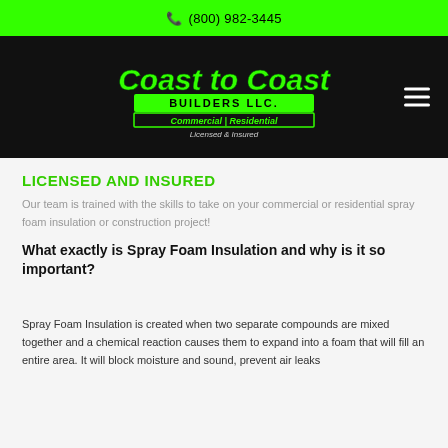(800) 982-3445
[Figure (logo): Coast to Coast Builders LLC. Commercial | Residential Licensed & Insured logo in green on black background]
LICENSED AND INSURED
Our team is trained with the skills to take on your commercial or residential spray foam insulation or construction project!
What exactly is Spray Foam Insulation and why is it so important?
Spray Foam Insulation is created when two separate compounds are mixed together and a chemical reaction causes them to expand into a foam that will fill an entire area. It will block moisture and sound, prevent air leaks